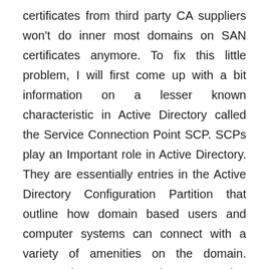certificates from third party CA suppliers won't do inner most domains on SAN certificates anymore. To fix this little problem, I will first come up with a bit information on a lesser known characteristic in Active Directory called the Service Connection Point SCP. SCPs play an Important role in Active Directory. They are essentially entries in the Active Directory Configuration Partition that outline how domain based users and computer systems can connect with a variety of amenities on the domain. Hence the name Service Connection Point.
These will customarily happen in one of the vital Active Directory tools that a large number of people overlook, but is really important in Exchange since 2007 was released, Active Directory Sites and